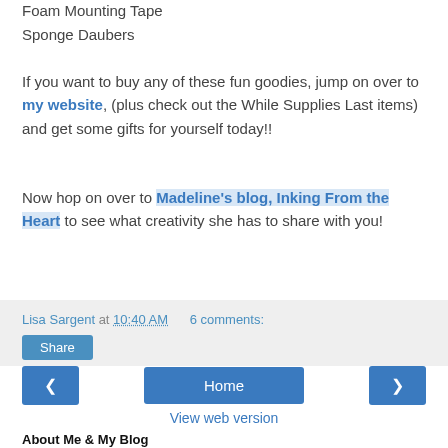Foam Mounting Tape
Sponge Daubers
If you want to buy any of these fun goodies, jump on over to my website, (plus check out the While Supplies Last items) and get some gifts for yourself today!!
Now hop on over to Madeline's blog, Inking From the Heart to see what creativity she has to share with you!
Lisa Sargent at 10:40 AM   6 comments:
Share
Home
View web version
About Me & My Blog
Lisa Sargent